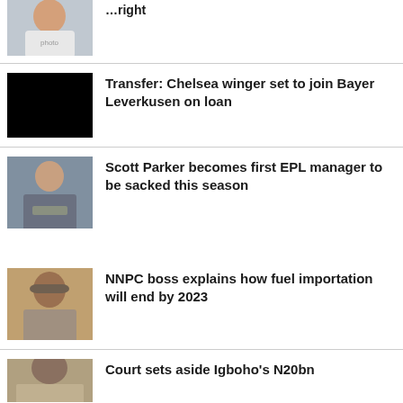[Figure (photo): Athlete in white jersey, partially cropped at top]
…right
[Figure (photo): Black rectangle placeholder image]
Transfer: Chelsea winger set to join Bayer Leverkusen on loan
[Figure (photo): Man in grey sweater with arms crossed, looking down]
Scott Parker becomes first EPL manager to be sacked this season
[Figure (photo): Man in traditional attire seated, NNPC boss]
NNPC boss explains how fuel importation will end by 2023
[Figure (photo): Person partially visible at bottom]
Court sets aside Igboho's N20bn